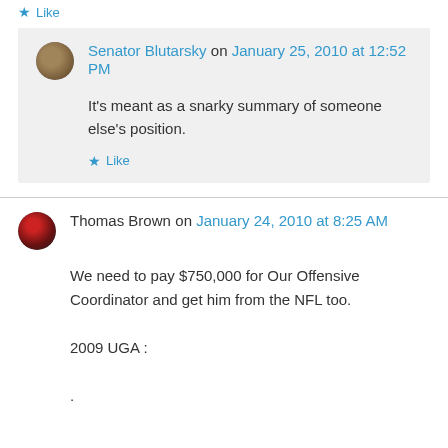★ Like
Senator Blutarsky on January 25, 2010 at 12:52 PM
It's meant as a snarky summary of someone else's position.
★ Like
Thomas Brown on January 24, 2010 at 8:25 AM
We need to pay $750,000 for Our Offensive Coordinator and get him from the NFL too.
2009 UGA :
.